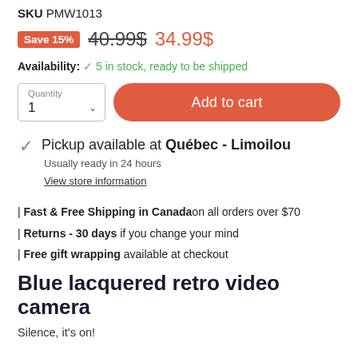SKU PMW1013
Save 15%  40.99$  34.99$
Availability: 5 in stock, ready to be shipped
Quantity 1 | Add to cart
Pickup available at Québec - Limoilou
Usually ready in 24 hours
View store information
| Fast & Free Shipping in Canadaon all orders over $70
| Returns - 30 days if you change your mind
| Free gift wrapping available at checkout
Blue lacquered retro video camera
Silence, it's on!